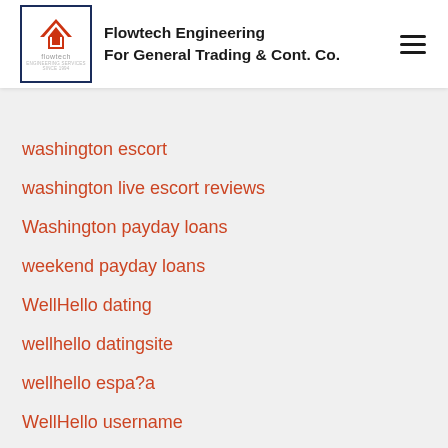Flowtech Engineering For General Trading & Cont. Co.
warren escort directory
washington escort
washington live escort reviews
Washington payday loans
weekend payday loans
WellHello dating
wellhello datingsite
wellhello espa?a
WellHello username
wellhello-recenze MobilnΓ strΓΫnka
west palm beach escort girls
West Virginia payday loans